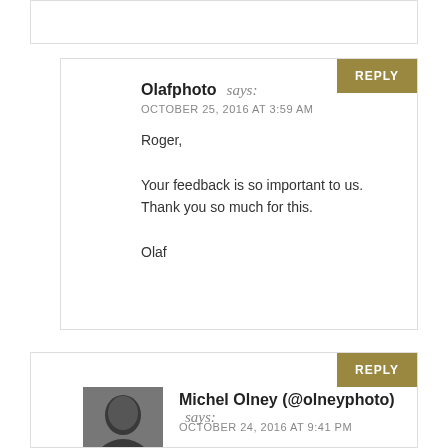[partial comment box at top]
Olafphoto says:
OCTOBER 25, 2016 AT 3:59 AM
Roger,

Your feedback is so important to us. Thank you so much for this.

Olaf
Michel Olney (@olneyphoto) says:
OCTOBER 24, 2016 AT 9:41 PM
Love it! So true... Sometimes I asked myself why I do this. Who cares, albeit it's Disneyesque? Who looks if it's not HDR? If not glossy high fashion? Still, I continue to do it, continue to learn from people like you and a bunch of Xs photog.